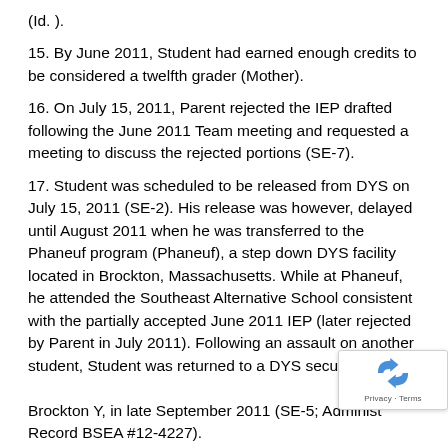(Id. ).
15. By June 2011, Student had earned enough credits to be considered a twelfth grader (Mother).
16. On July 15, 2011, Parent rejected the IEP drafted following the June 2011 Team meeting and requested a meeting to discuss the rejected portions (SE-7).
17. Student was scheduled to be released from DYS on July 15, 2011 (SE-2). His release was however, delayed until August 2011 when he was transferred to the Phaneuf program (Phaneuf), a step down DYS facility located in Brockton, Massachusetts. While at Phaneuf, he attended the Southeast Alternative School consistent with the partially accepted June 2011 IEP (later rejected by Parent in July 2011). Following an assault on another student, Student was returned to a DYS secure faci... Brockton Y, in late September 2011 (SE-5; Administ... Record BSEA #12-4227).